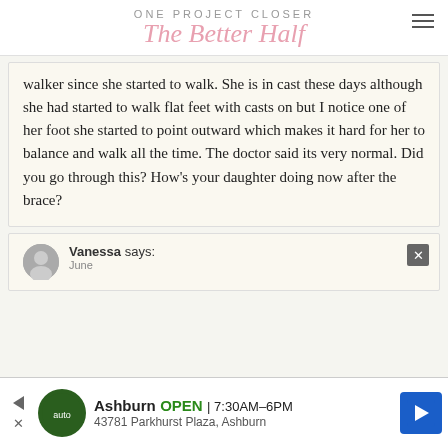ONE PROJECT CLOSER
The Better Half
walker since she started to walk. She is in cast these days although she had started to walk flat feet with casts on but I notice one of her foot she started to point outward which makes it hard for her to balance and walk all the time. The doctor said its very normal. Did you go through this? How's your daughter doing now after the brace?
[Figure (other): User avatar silhouette icon for Vanessa's comment]
Vanessa says:
June
[Figure (other): Advertisement banner: Ashburn auto service, OPEN 7:30AM-6PM, 43781 Parkhurst Plaza, Ashburn]